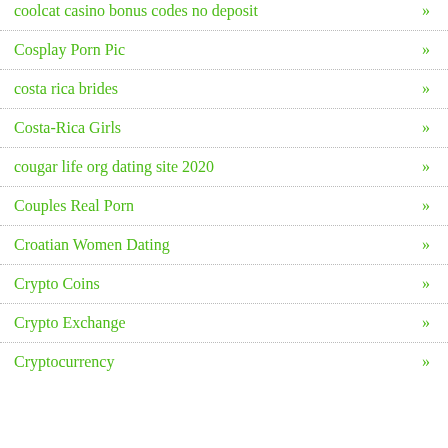coolcat casino bonus codes no deposit »
Cosplay Porn Pic »
costa rica brides »
Costa-Rica Girls »
cougar life org dating site 2020 »
Couples Real Porn »
Croatian Women Dating »
Crypto Coins »
Crypto Exchange »
Cryptocurrency »